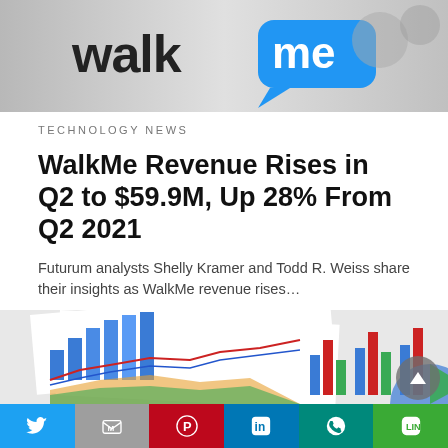[Figure (photo): WalkMe logo on a blue speech bubble background, light grey tones]
TECHNOLOGY NEWS
WalkMe Revenue Rises in Q2 to $59.9M, Up 28% From Q2 2021
Futurum analysts Shelly Kramer and Todd R. Weiss share their insights as WalkMe revenue rises…
4 days ago
[Figure (photo): Multiple financial charts including bar charts and line/area charts spread on a surface]
[Figure (infographic): Social share buttons bar: Twitter (blue), Gmail (grey), Pinterest (red), LinkedIn (blue), WhatsApp (teal), Line (green)]